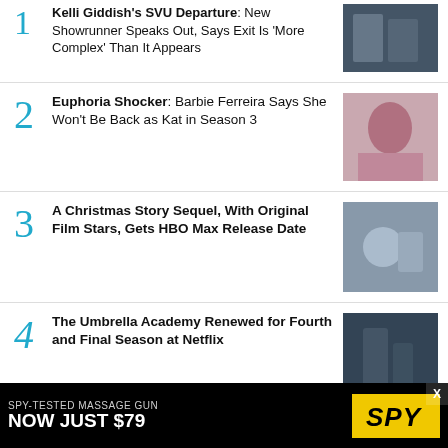1. Kelli Giddish's SVU Departure: New Showrunner Speaks Out, Says Exit Is 'More Complex' Than It Appears
2. Euphoria Shocker: Barbie Ferreira Says She Won't Be Back as Kat in Season 3
3. A Christmas Story Sequel, With Original Film Stars, Gets HBO Max Release Date
4. The Umbrella Academy Renewed for Fourth and Final Season at Netflix
5. America's Got Talent Eliminates 9 More Acts in Third Week of Live Episodes
[Figure (other): Advertisement banner: SPY-TESTED MASSAGE GUN NOW JUST $79 with SPY logo on yellow background]